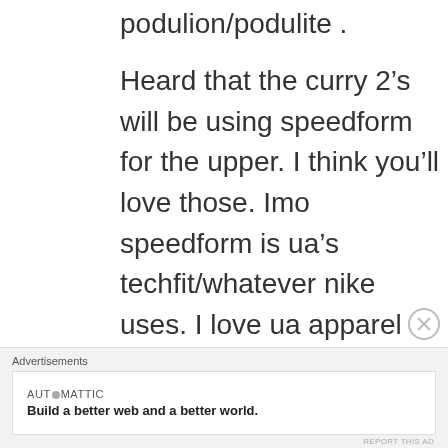podulion/podulite .
Heard that the curry 2’s will be using speedform for the upper. I think you’ll love those. Imo speedform is ua’s techfit/whatever nike uses. I love ua apparel man. Provides me with the best compression imo and it lasts too especially here in the philippines.
Outdoor courts here are known to be lets just say a bit worse than
Advertisements
[Figure (other): Automattic advertisement: Build a better web and a better world.]